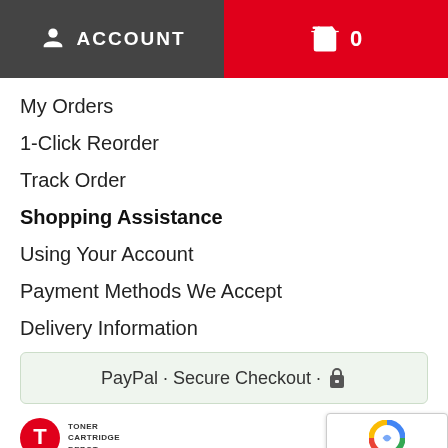ACCOUNT  |  🛒 0
My Orders
1-Click Reorder
Track Order
Shopping Assistance
Using Your Account
Payment Methods We Accept
Delivery Information
Submit Ticket
PayPal · Secure Checkout · 🔒
[Figure (logo): Toner Cartridge Depot logo with red circle T icon and company name]
[Figure (screenshot): reCAPTCHA badge with Privacy and Terms links]